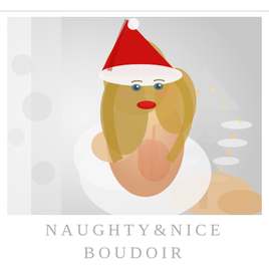[Figure (photo): A woman wearing a red Santa hat and red lace lingerie with a white robe slipped off one shoulder, sitting and looking at the camera with a slight smile and red lipstick. Behind her is a snow-flocked Christmas tree with warm fairy lights, and a bright white background. Boudoir photography style.]
NAUGHTY&NICE BOUDOIR